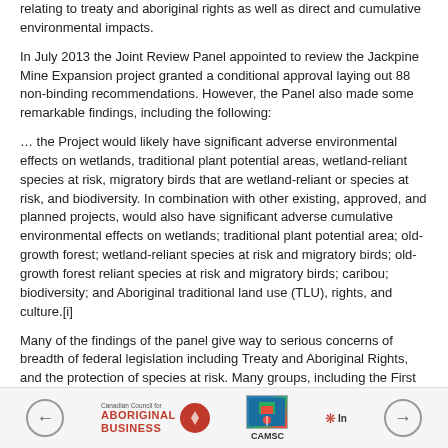relating to treaty and aboriginal rights as well as direct and cumulative environmental impacts.
In July 2013 the Joint Review Panel appointed to review the Jackpine Mine Expansion project granted a conditional approval laying out 88 non-binding recommendations. However, the Panel also made some remarkable findings, including the following:
… the Project would likely have significant adverse environmental effects on wetlands, traditional plant potential areas, wetland-reliant species at risk, migratory birds that are wetland-reliant or species at risk, and biodiversity. In combination with other existing, approved, and planned projects, would also have significant adverse cumulative environmental effects on wetlands; traditional plant potential area; old-growth forest; wetland-reliant species at risk and migratory birds; old-growth forest reliant species at risk and migratory birds; caribou; biodiversity; and Aboriginal traditional land use (TLU), rights, and culture.[i]
Many of the findings of the panel give way to serious concerns of breadth of federal legislation including Treaty and Aboriginal Rights, and the protection of species at risk. Many groups, including the First Nation, were surprised the Panel justified the Project on the grounds that it would be in an area 'in…
Canadian Council for Aboriginal Business | CAMSC | In...